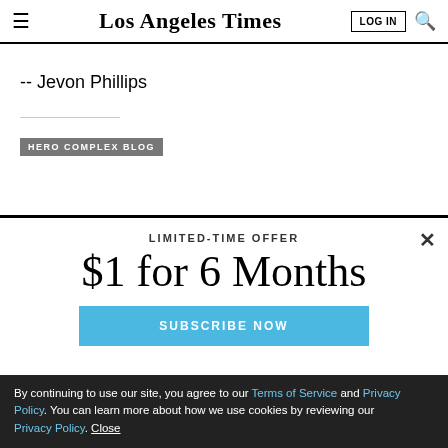Los Angeles Times
-- Jevon Phillips
HERO COMPLEX BLOG
LIMITED-TIME OFFER
$1 for 6 Months
SUBSCRIBE NOW
By continuing to use our site, you agree to our Terms of Service and Privacy Policy. You can learn more about how we use cookies by reviewing our Privacy Policy. Close